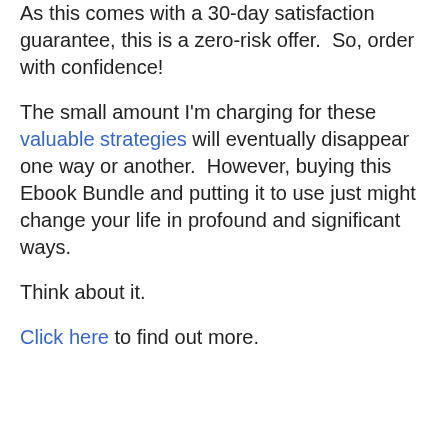As this comes with a 30-day satisfaction guarantee, this is a zero-risk offer.  So, order with confidence!
The small amount I'm charging for these valuable strategies will eventually disappear one way or another.  However, buying this Ebook Bundle and putting it to use just might change your life in profound and significant ways.
Think about it.
Click here to find out more.